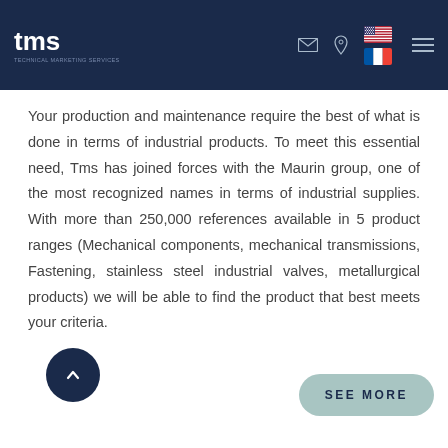TMS - Technical Marketing Services - Navigation header with logo, email icon, location icon, US and French flags, hamburger menu
Your production and maintenance require the best of what is done in terms of industrial products. To meet this essential need, Tms has joined forces with the Maurin group, one of the most recognized names in terms of industrial supplies. With more than 250,000 references available in 5 product ranges (Mechanical components, mechanical transmissions, Fastening, stainless steel industrial valves, metallurgical products) we will be able to find the product that best meets your criteria.
[Figure (other): Dark navy circular back-to-top button with upward chevron arrow]
[Figure (other): Teal/sage colored rounded pill-shaped SEE MORE button]